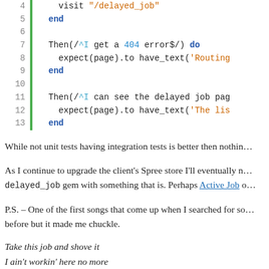[Figure (screenshot): Code snippet showing Ruby test steps with line numbers 4-13, including visit, Then, expect, and end keywords with syntax highlighting]
While not unit tests having integration tests is better then nothing.
As I continue to upgrade the client's Spree store I'll eventually need to replace the delayed_job gem with something that is. Perhaps Active Job or something similar.
P.S. – One of the first songs that come up when I searched for something was one I hadn't heard before but it made me chuckle.
Take this job and shove it
I ain't workin' here no more
My woman done left and took all the reasons